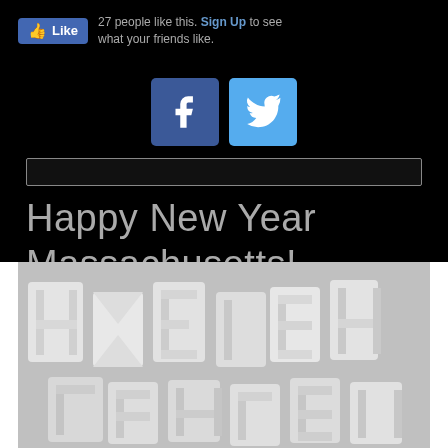[Figure (screenshot): Facebook Like button with text '27 people like this. Sign Up to see what your friends like.']
[Figure (screenshot): Facebook and Twitter social media icon buttons (blue square icons)]
[Figure (screenshot): Search input bar on dark background]
Happy New Year Massachusetts!
[Figure (photo): Close-up photo of white 3D printed or ceramic letter shapes spelling something, photographed from above on a gray surface]